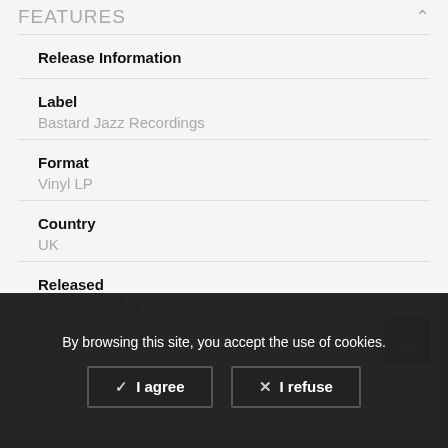FEATURES
Release Information
Label
Bastard Jazz Recordings
Format
Vinyl LP
Country
UK
Released
13th November 2020
Track
By browsing this site, you accept the use of cookies.
✓ I agree
✕ I refuse